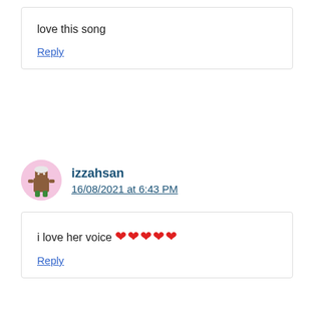love this song
Reply
izzahsan
16/08/2021 at 6:43 PM
i love her voice ❤❤❤❤❤
Reply